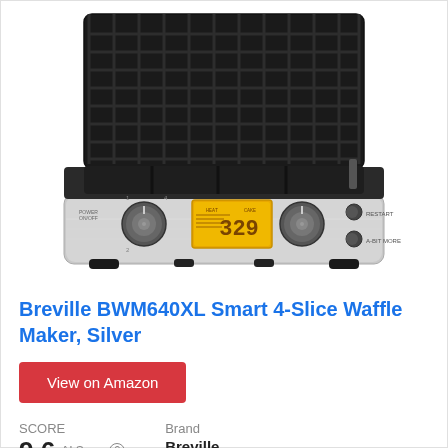[Figure (photo): Breville BWM640XL Smart 4-Slice Waffle Maker in silver, shown open with waffle grid plates visible and LCD display showing 329 on the front panel]
Breville BWM640XL Smart 4-Slice Waffle Maker, Silver
View on Amazon
SCORE
9.6 AI Score
Brand
Breville